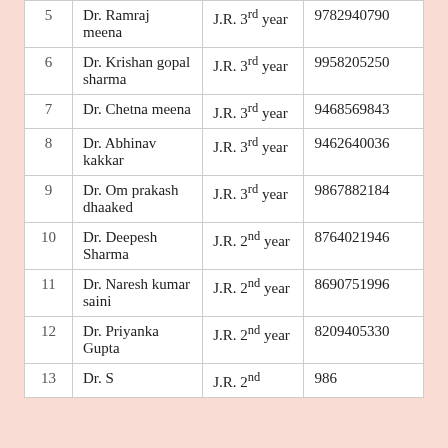| 5 | Dr. Ramraj meena | J.R. 3rd year | 9782940790 |
| 6 | Dr. Krishan gopal sharma | J.R. 3rd year | 9958205250 |
| 7 | Dr. Chetna meena | J.R. 3rd year | 9468569843 |
| 8 | Dr. Abhinav kakkar | J.R. 3rd year | 9462640036 |
| 9 | Dr. Om prakash dhaaked | J.R. 3rd year | 9867882184 |
| 10 | Dr. Deepesh Sharma | J.R. 2nd year | 8764021946 |
| 11 | Dr. Naresh kumar saini | J.R. 2nd year | 8690751996 |
| 12 | Dr. Priyanka Gupta | J.R. 2nd year | 8209405330 |
| 13 | Dr. S... | J.R. 2nd... | 986... |